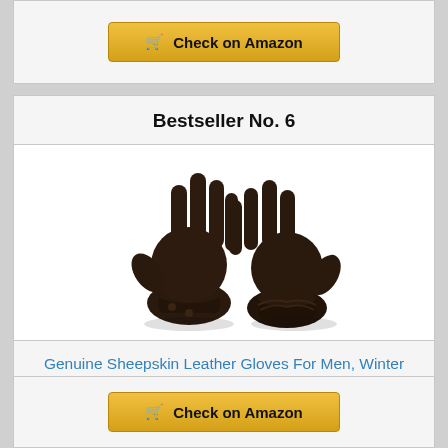[Figure (other): Check on Amazon button at top of page]
Bestseller No. 6
[Figure (photo): Two dark brown/black genuine sheepskin leather gloves displayed against white background, fingers spread open]
Genuine Sheepskin Leather Gloves For Men, Winter Warm Touchscreen Texting Cashmere Lined Driving...
[Figure (other): Check on Amazon button at bottom of page]